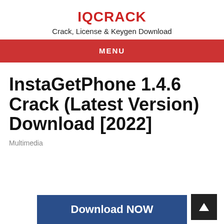IQCRACK
Crack, License & Keygen Download
MENU
InstaGetPhone 1.4.6 Crack (Latest Version) Download [2022]
Multimedia
Download NOW